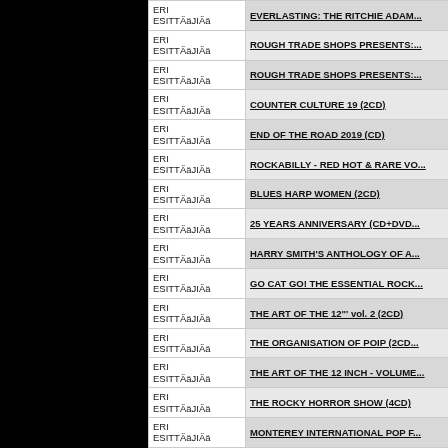| Artist | Title |
| --- | --- |
| ERI ESITTÄäJIÄä | EVERLASTING: THE RITCHIE ADAM... |
| ERI ESITTÄäJIÄä | ROUGH TRADE SHOPS PRESENTS:... |
| ERI ESITTÄäJIÄä | ROUGH TRADE SHOPS PRESENTS:... |
| ERI ESITTÄäJIÄä | COUNTER CULTURE 19 (2CD) |
| ERI ESITTÄäJIÄä | END OF THE ROAD 2019 (CD) |
| ERI ESITTÄäJIÄä | ROCKABILLY - RED HOT & RARE VO... |
| ERI ESITTÄäJIÄä | BLUES HARP WOMEN (2CD) |
| ERI ESITTÄäJIÄä | 25 YEARS ANNIVERSARY (CD+DVD... |
| ERI ESITTÄäJIÄä | HARRY SMITH'S ANTHOLOGY OF A... |
| ERI ESITTÄäJIÄä | GO CAT GO! THE ESSENTIAL ROCK... |
| ERI ESITTÄäJIÄä | THE ART OF THE 12"' vol. 2 (2CD) |
| ERI ESITTÄäJIÄä | THE ORGANISATION OF POIP (2CD... |
| ERI ESITTÄäJIÄä | THE ART OF THE 12 INCH - VOLUME... |
| ERI ESITTÄäJIÄä | THE ROCKY HORROR SHOW (4CD) |
| ERI ESITTÄäJIÄä | MONTEREY INTERNATIONAL POP F... |
| ERI ESITTÄäJIÄä | UPTOWN SOUL & FUNK FROM THE... |
| ERI ESITTÄäJIÄä | SOME BIZZARE ALBUM (CD) |
| ERI ESITTÄäJIÄä | SCOTCH BONNET PRESENTS PUFF... |
| ERI ESITTÄäJIÄä | ... |